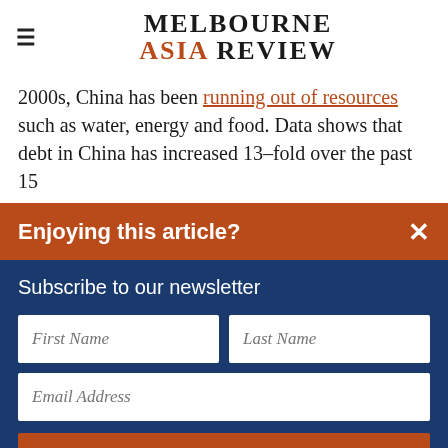Melbourne Asia Review
2000s, China has been running out of resources such as water, energy and food. Data shows that debt in China has increased 13-fold over the past 15
Enjoying this article?
Subscribe to our newsletter
First Name
Last Name
Email Address
Submit